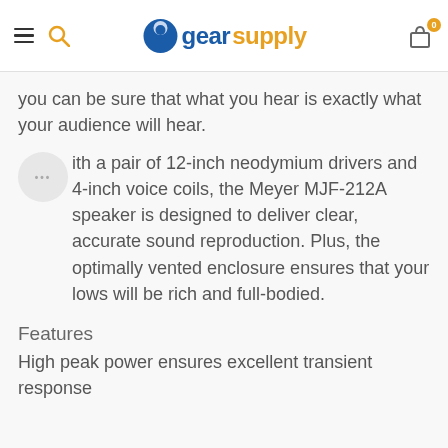gearsupply
you can be sure that what you hear is exactly what your audience will hear.
With a pair of 12-inch neodymium drivers and 4-inch voice coils, the Meyer MJF-212A speaker is designed to deliver clear, accurate sound reproduction. Plus, the optimally vented enclosure ensures that your lows will be rich and full-bodied.
Features
High peak power ensures excellent transient response